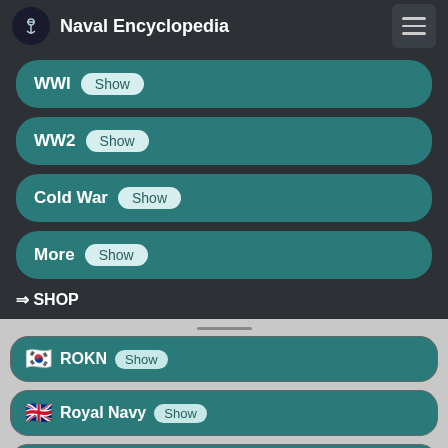Naval Encyclopedia
WWI Show
WW2 Show
Cold War Show
More Show
⇒ SHOP
🇰🇷 ROKN Show
🇬🇧 Royal Navy Show
🇿🇦 South African Navy Show
🇪🇸 Armada Show